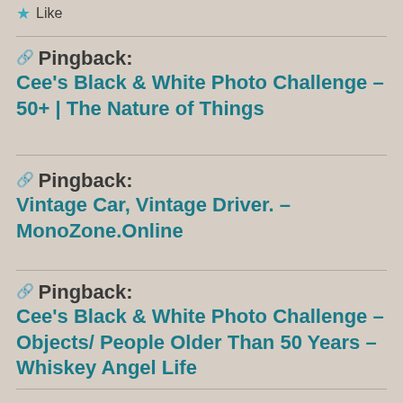Like
Pingback: Cee's Black & White Photo Challenge – 50+ | The Nature of Things
Pingback: Vintage Car, Vintage Driver. – MonoZone.Online
Pingback: Cee's Black & White Photo Challenge – Objects/ People Older Than 50 Years – Whiskey Angel Life